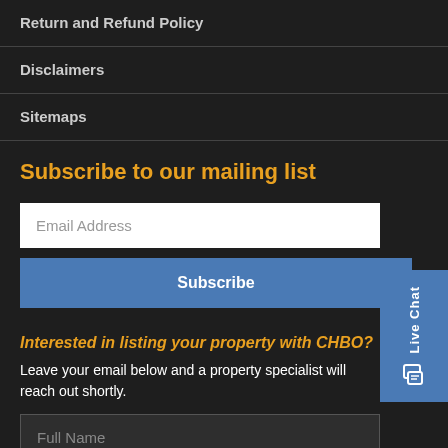Return and Refund Policy
Disclaimers
Sitemaps
Subscribe to our mailing list
Email Address
Subscribe
Interested in listing your property with CHBO?
Leave your email below and a property specialist will reach out shortly.
Full Name
Email Address
Live Chat